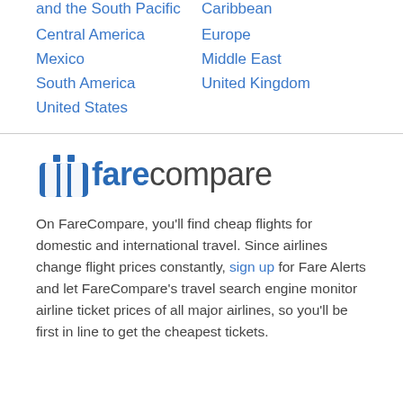and the South Pacific
Caribbean
Central America
Europe
Mexico
Middle East
South America
United Kingdom
United States
[Figure (logo): FareCompare logo with suitcase icon in blue]
On FareCompare, you'll find cheap flights for domestic and international travel. Since airlines change flight prices constantly, sign up for Fare Alerts and let FareCompare's travel search engine monitor airline ticket prices of all major airlines, so you'll be first in line to get the cheapest tickets.